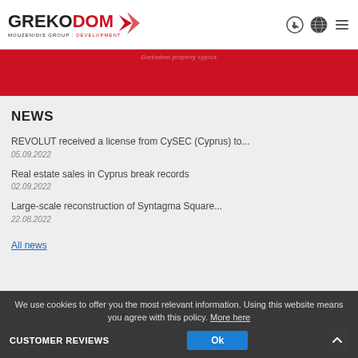[Figure (logo): Grekodom Mouzenidis Group Development logo with red arrow/chevron graphic]
[Figure (infographic): Header icons: phone, globe, hamburger menu]
Red banner strip with faint italic text
NEWS
REVOLUT received a license from CySEC (Cyprus) to...
05.09.2022
Real estate sales in Cyprus break records
02.09.2022
Large-scale reconstruction of Syntagma Square...
22.08.2022
All news
We use cookies to offer you the most relevant information. Using this website means you agree with this policy. More here
CUSTOMER REVIEWS
Ok